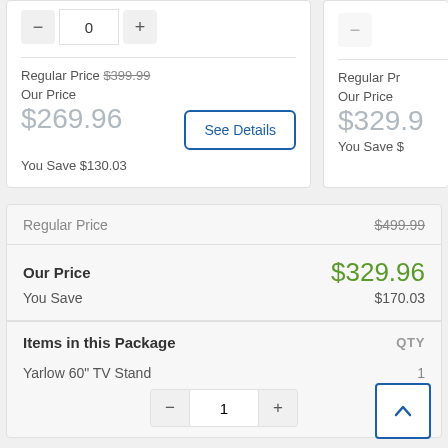Regular Price $399.99
Our Price
$269.96
You Save $130.03
Regular Price $499.99
Our Price $329.96
You Save
Regular Price $499.99
Our Price $329.96
You Save $170.03
Items in this Package QTY
Yarlow 60" TV Stand 1